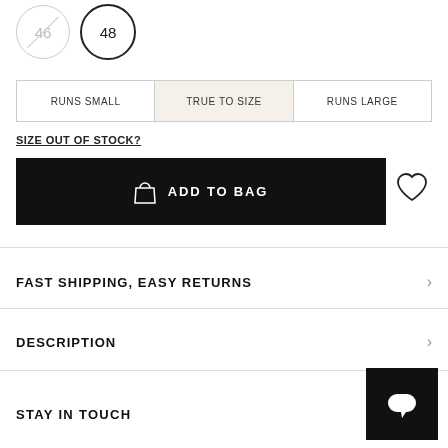[Figure (other): Size selector circles showing '46' (unavailable, crossed out) and '48' (selected with border)]
| RUNS SMALL | TRUE TO SIZE | RUNS LARGE |
| --- | --- | --- |
SIZE OUT OF STOCK?
ADD TO BAG
FAST SHIPPING, EASY RETURNS
DESCRIPTION
STAY IN TOUCH
[Figure (other): Chat widget icon — black square with white speech bubble]